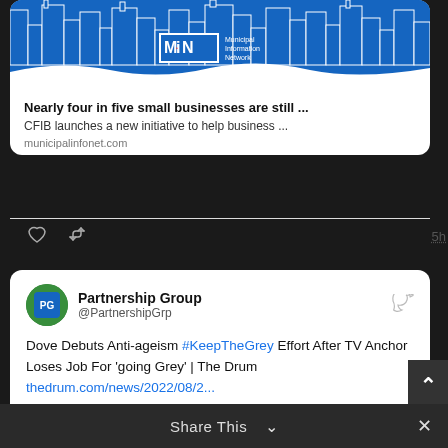[Figure (screenshot): MiN Municipal Information Network logo on blue background with city skyline silhouette]
Nearly four in five small businesses are still ...
CFIB launches a new initiative to help business ...
municipalinfonet.com
5h
Partnership Group @PartnershipGrp
Dove Debuts Anti-ageism #KeepTheGrey Effort After TV Anchor Loses Job For 'going Grey' | The Drum thedrum.com/news/2022/08/2...
Embed
View on Twitter
Share This ∨